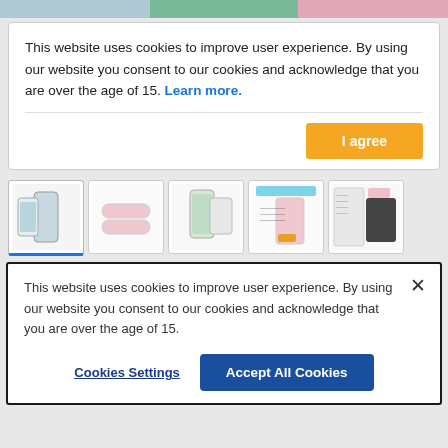[Figure (photo): Top image strip showing portions of phone cases in teal, green, and pink colors]
This website uses cookies to improve user experience. By using our website you consent to our cookies and acknowledge that you are over the age of 15. Learn more.
[Figure (screenshot): I agree yellow button]
[Figure (photo): Row of five product thumbnail images showing phone cases in various views - front+back, top view, side view, diagram, spec sheet]
This website uses cookies to improve user experience. By using our website you consent to our cookies and acknowledge that you are over the age of 15.
Cookies Settings
Accept All Cookies